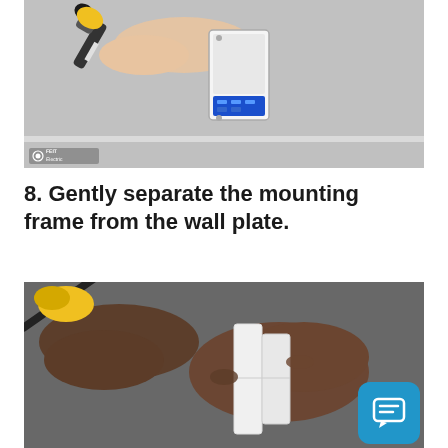[Figure (photo): A hand using a screwdriver to work on a wall-mounted smart dimmer switch (white and blue device). White textured wall and baseboard visible. Feit Electric logo in bottom-left corner of image.]
8. Gently separate the mounting frame from the wall plate.
[Figure (photo): Close-up of two dark-skinned hands separating a white rectangular wall plate, using a screwdriver with a yellow handle. Dark background.]